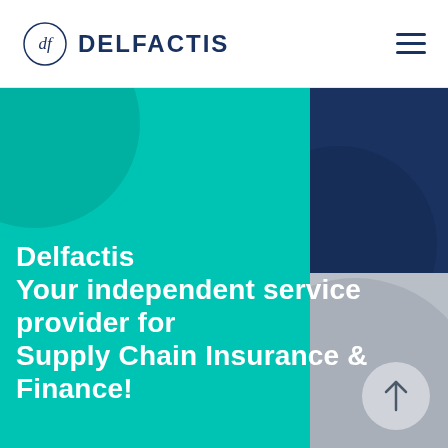DELFACTIS
[Figure (illustration): Delfactis company homepage hero section with teal panel on left, gray gradient in center, navy blue panel top-right, lighter gray bottom-right, decorative circles, and large white bold text overlaid.]
Delfactis Your independent service provider for Supply Chain Insurance & Finance!